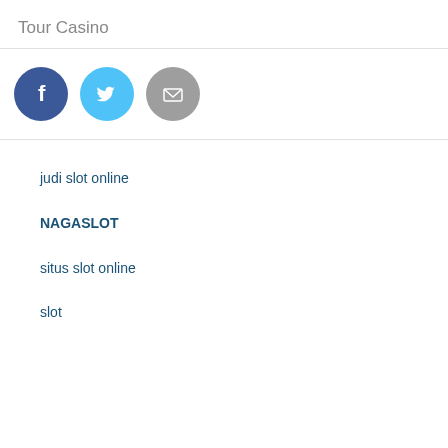Tour Casino
[Figure (infographic): Three social share buttons: Facebook (dark blue circle with 'f'), Twitter (light blue circle with bird icon), Email (gray circle with envelope icon)]
judi slot online
NAGASLOT
situs slot online
slot